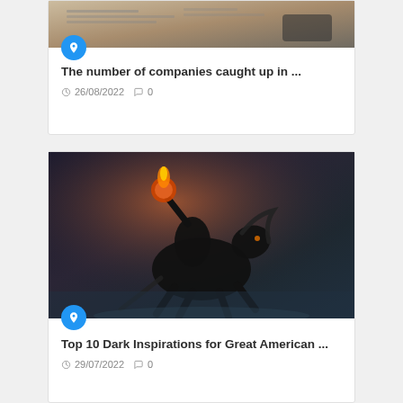[Figure (photo): Top portion of a card with a blurred newspaper/financial document photo background]
The number of companies caught up in ...
26/08/2022  0
[Figure (photo): Dark fantasy illustration of a headless horseman riding a black horse, holding a flaming jack-o-lantern]
Top 10 Dark Inspirations for Great American ...
29/07/2022  0